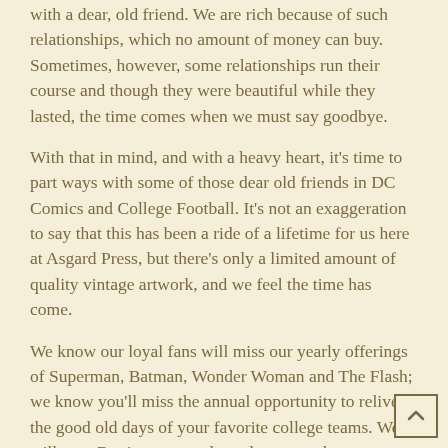with a dear, old friend. We are rich because of such relationships, which no amount of money can buy. Sometimes, however, some relationships run their course and though they were beautiful while they lasted, the time comes when we must say goodbye.
With that in mind, and with a heavy heart, it's time to part ways with some of those dear old friends in DC Comics and College Football. It's not an exaggeration to say that this has been a ride of a lifetime for us here at Asgard Press, but there's only a limited amount of quality vintage artwork, and we feel the time has come.
We know our loyal fans will miss our yearly offerings of Superman, Batman, Wonder Woman and The Flash; we know you'll miss the annual opportunity to relive the good old days of your favorite college teams. We will, too. But just as one door closes, another opens, and we hope you will be just as excited about our new titles as we are.